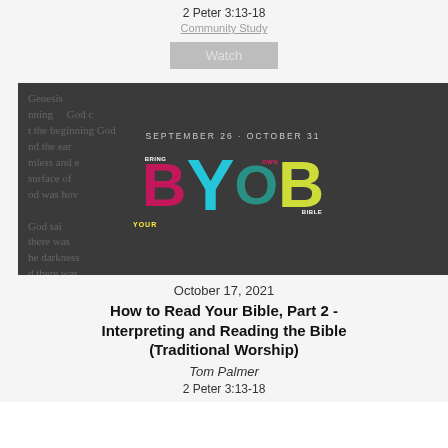2 Peter 3:13-18
Community Study
Watch
[Figure (photo): BYOB - Bring Your Own Bible promotional image with dark Bible text background, dated September 26 - October 31, featuring colorful patterned letters spelling BYOB]
October 17, 2021
How to Read Your Bible, Part 2 - Interpreting and Reading the Bible (Traditional Worship)
Tom Palmer
2 Peter 3:13-18